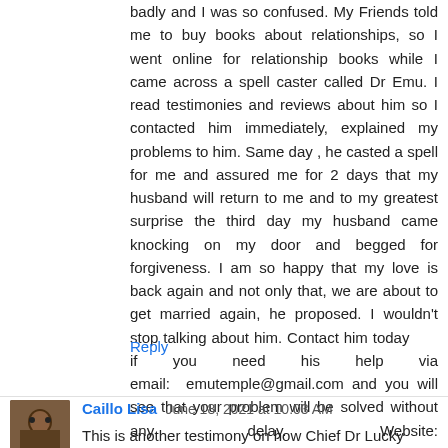badly and I was so confused. My Friends told me to buy books about relationships, so I went online for relationship books while I came across a spell caster called Dr Emu. I read testimonies and reviews about him so I contacted him immediately, explained my problems to him. Same day , he casted a spell for me and assured me for 2 days that my husband will return to me and to my greatest surprise the third day my husband came knocking on my door and begged for forgiveness. I am so happy that my love is back again and not only that, we are about to get married again, he proposed. I wouldn't stop talking about him. Contact him today if you need his help via email: emutemple@gmail.com and you will see that your problem will be solved without any delay. Website: https://emutemple.wordpress.com/ whatsapp number +2347012841542
Reply
Caillo Lisa  June 18, 2021 at 10:03 AM
This is another testimony on how Chief Dr Lucky cured my HIV disease. Can you please keep sharing testimonies of